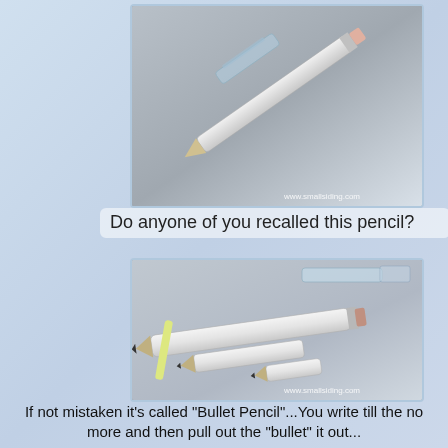[Figure (photo): Close-up photo of a mechanical pencil or bullet pencil on a gray surface, showing the pencil body and tip detail. Watermark reading www.smallsiding.com in bottom right corner.]
Do anyone of you recalled this pencil?
[Figure (photo): Photo showing disassembled bullet pencils on a gray surface — a full pencil, components separated, and small pencil tip pieces laid out. Also visible is a transparent cap in the upper right. Watermark reading www.smallsiding.com in bottom right corner.]
If not mistaken it's called "Bullet Pencil"...You write till the no more and then pull out the "bullet" it out...